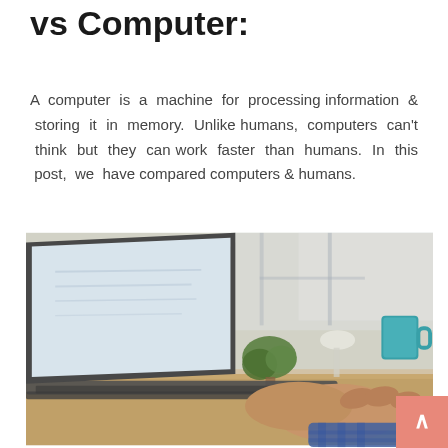vs Computer:
A computer is a machine for processing information & storing it in memory. Unlike humans, computers can't think but they can work faster than humans. In this post, we have compared computers & humans.
[Figure (photo): A person typing on a MacBook laptop placed on a wooden desk, with a green plant, lamp, and teal mug in the background near a bright window.]